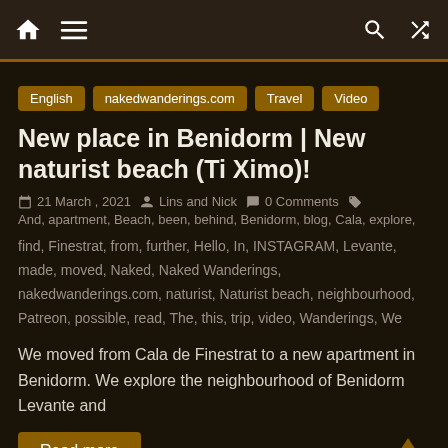Navigation bar with home, menu, search, and shuffle icons
English
nakedwanderings.com
Travel
Video
New place in Benidorm | New naturist beach (Ti Ximo)!
21 March , 2021  Lins and Nick  0 Comments  And, apartment, Beach, been, behind, Benidorm, blog, Cala, explore, find, Finestrat, from, further, Hello, In, INSTAGRAM, Levante, made, moved, Naked, Naked Wanderings, nakedwanderings.com, naturist, Naturist beach, neighbourhood, Patreon, possible, read, The, this, trip, video, Wanderings, We
We moved from Cala de Finestrat to a new apartment in Benidorm. We explore the neighbourhood of Benidorm Levante and
Read more